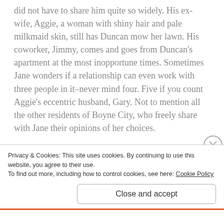did not have to share him quite so widely. His ex-wife, Aggie, a woman with shiny hair and pale milkmaid skin, still has Duncan mow her lawn. His coworker, Jimmy, comes and goes from Duncan's apartment at the most inopportune times. Sometimes Jane wonders if a relationship can even work with three people in it–never mind four. Five if you count Aggie's eccentric husband, Gary. Not to mention all the other residents of Boyne City, who freely share with Jane their opinions of her choices.
But any notion Jane had of love and marriage changes with one terrible car crash. Soon Jane's life is permanently
Privacy & Cookies: This site uses cookies. By continuing to use this website, you agree to their use.
To find out more, including how to control cookies, see here: Cookie Policy
Close and accept